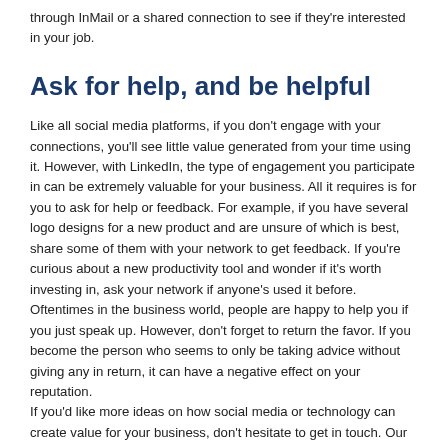through InMail or a shared connection to see if they're interested in your job.
Ask for help, and be helpful
Like all social media platforms, if you don't engage with your connections, you'll see little value generated from your time using it. However, with LinkedIn, the type of engagement you participate in can be extremely valuable for your business. All it requires is for you to ask for help or feedback. For example, if you have several logo designs for a new product and are unsure of which is best, share some of them with your network to get feedback. If you're curious about a new productivity tool and wonder if it's worth investing in, ask your network if anyone's used it before. Oftentimes in the business world, people are happy to help you if you just speak up. However, don't forget to return the favor. If you become the person who seems to only be taking advice without giving any in return, it can have a negative effect on your reputation.
If you'd like more ideas on how social media or technology can create value for your business, don't hesitate to get in touch. Our IT solutions can help you overcome challenges, and create an even more valuable business.